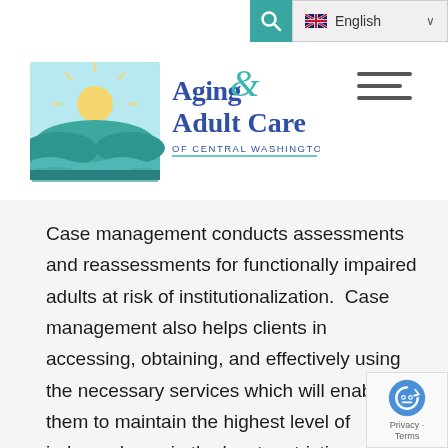[Figure (logo): Search icon (magnifying glass) in teal box and English language selector with UK flag and dropdown arrow]
[Figure (logo): Aging & Adult Care of Central Washington logo with sun/landscape graphic and teal/purple text]
[Figure (other): Hamburger menu icon with three horizontal lines]
Case management conducts assessments and reassessments for functionally impaired adults at risk of institutionalization.  Case management also helps clients in accessing, obtaining, and effectively using the necessary services which will enable them to maintain the highest level of independence in the least restrictive setting.
[Figure (other): reCAPTCHA badge with robot icon and Privacy - Terms text]